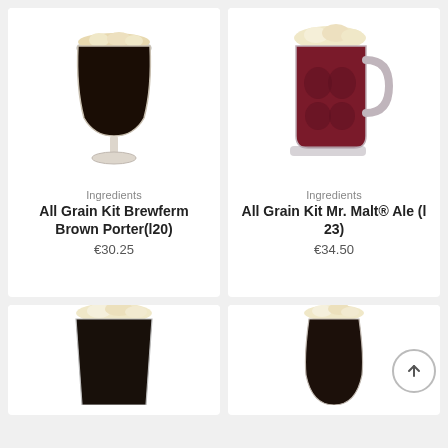[Figure (photo): Dark porter beer in a stemmed goblet glass with foamy head, on white background]
Ingredients
All Grain Kit Brewferm Brown Porter(l20)
€30.25
[Figure (photo): Red-amber ale beer in a faceted glass mug with foamy head, on white background]
Ingredients
All Grain Kit Mr. Malt® Ale (l 23)
€34.50
[Figure (photo): Dark beer in a pint glass with foamy head, partially visible at bottom of page]
[Figure (photo): Dark beer in a tulip glass with foamy head, partially visible at bottom of page]